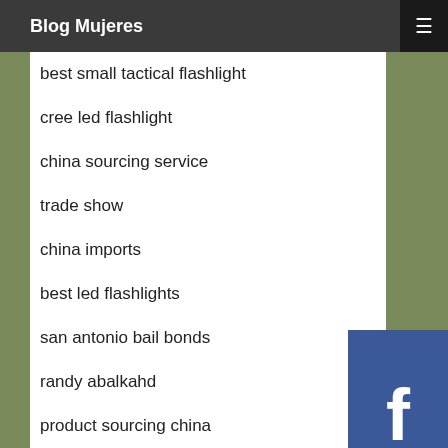Blog Mujeres
best small tactical flashlight
cree led flashlight
china sourcing service
trade show
china imports
best led flashlights
san antonio bail bonds
randy abalkahd
product sourcing china
scissor lift sales
china product sourcing
aaa flashlights